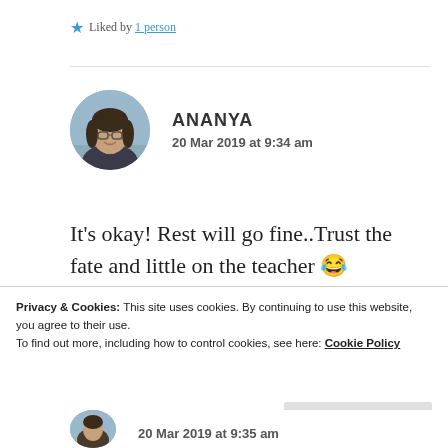★ Liked by 1 person
ANANYA
20 Mar 2019 at 9:34 am
[Figure (photo): Circular avatar photo of Ananya, a young woman with glasses and long dark hair, smiling]
It's okay! Rest will go fine..Trust the fate and little on the teacher 😂
★ Liked by 2 people
Privacy & Cookies: This site uses cookies. By continuing to use this website, you agree to their use.
To find out more, including how to control cookies, see here: Cookie Policy
Close and accept
20 Mar 2019 at 9:35 am